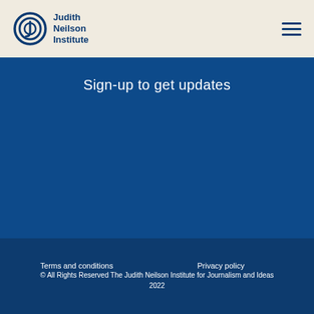Judith Neilson Institute
Sign-up to get updates
Terms and conditions   Privacy policy
© All Rights Reserved The Judith Neilson Institute for Journalism and Ideas 2022